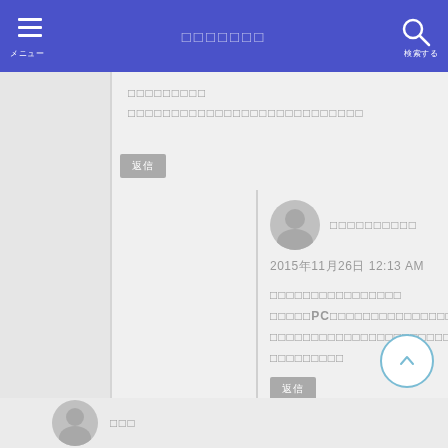メニュー　[タイトル文字列]　検索
[コメント本文1行目] [コメント本文2行目]
返信
[ユーザー名]
2015年11月26日 12:13 AM
[返信コメント本文。PCを使った内容など複数行にわたる文章]
返信
[ユーザー名]